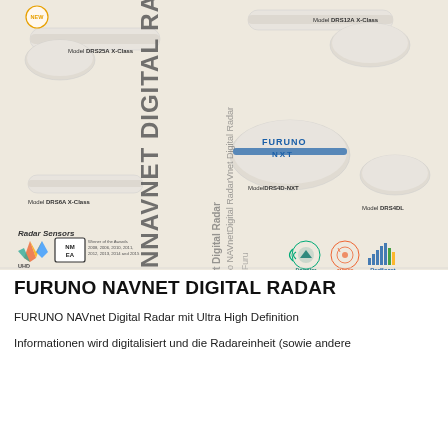[Figure (photo): Furuno radar sensor products photo showing multiple models: DRS25A X-Class, DRS12A X-Class, DRS6A X-Class, DRS4D-NXT, DRS4NXT, DRS4DL. Features Doppler, Target Analyzer, RezBoost icons and UHD, NMEA logos. Watermark text: NNAVNET DIGITAL RADAR and NAVnet Digital Radar repeated.]
FURUNO NAVNET DIGITAL RADAR
FURUNO NAVnet Digital Radar mit Ultra High Definition
Informationen wird digitalisiert und die Radareinheit (sowie andere